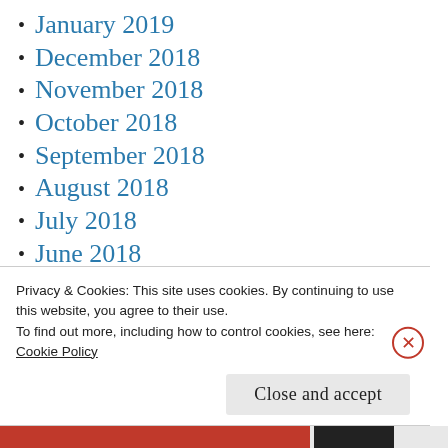January 2019
December 2018
November 2018
October 2018
September 2018
August 2018
July 2018
June 2018
May 2018
April 2018
March 2018
Privacy & Cookies: This site uses cookies. By continuing to use this website, you agree to their use.
To find out more, including how to control cookies, see here: Cookie Policy
Close and accept